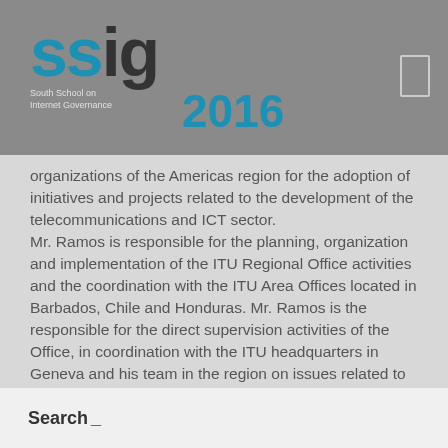SSIG South School on Internet Governance 2016
organizations of the Americas region for the adoption of initiatives and projects related to the development of the telecommunications and ICT sector. Mr. Ramos is responsible for the planning, organization and implementation of the ITU Regional Office activities and the coordination with the ITU Area Offices located in Barbados, Chile and Honduras. Mr. Ramos is the responsible for the direct supervision activities of the Office, in coordination with the ITU headquarters in Geneva and his team in the region on issues related to telecommunications and ICT regulation, spectrum management, strengthening of telecommunication institutions and capacity building in benefit of the Americas region, among others.
Search _